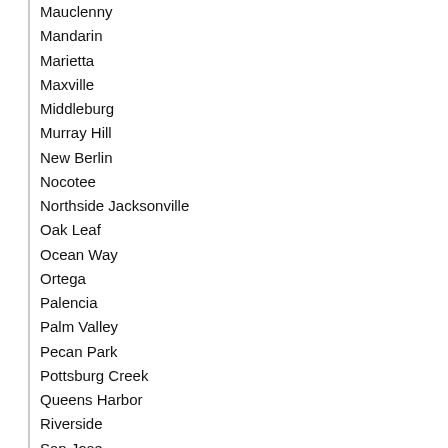Mauclenny
Mandarin
Marietta
Maxville
Middleburg
Murray Hill
New Berlin
Nocotee
Northside Jacksonville
Oak Leaf
Ocean Way
Ortega
Palencia
Palm Valley
Pecan Park
Pottsburg Creek
Queens Harbor
Riverside
San Jose
San Marco
Soutel
Southbank
Southpoint
Southside Jacksonville
Springfield
St Johns
St Nicholas
St…